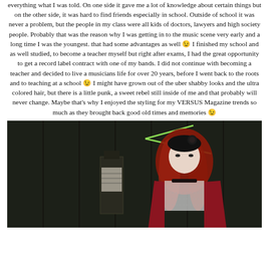everything what I was told. On one side it gave me a lot of knowledge about certain things but on the other side, it was hard to find friends especially in school. Outside of school it was never a problem, but the people in my class were all kids of doctors, lawyers and high society people. Probably that was the reason why I was getting in to the music scene very early and a long time I was the youngest. that had some advantages as well 😉 I finished my school and as well studied, to become a teacher myself but right after exams, I had the great opportunity to get a record label contract with one of my bands. I did not continue with becoming a teacher and decided to live a musicians life for over 20 years, before I went back to the roots and to teaching at a school 😉 I might have grown out of the uber shabby looks and the ultra colored hair, but there is a little punk, a sweet rebel still inside of me and that probably will never change. Maybe that's why I enjoyed the styling for my VERSUS Magazine trends so much as they brought back good old times and memories 😉
[Figure (photo): Dark atmospheric photo of a woman with long red hair wearing a black headpiece with flower decoration, white lace top, red jacket, against a dark background with geometric green light lines]